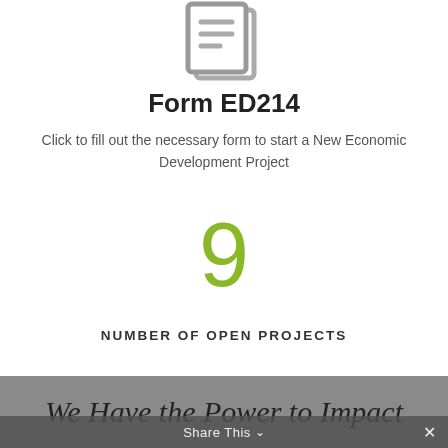[Figure (illustration): Gray document/form icon with stacked pages and lines]
Form ED214
Click to fill out the necessary form to start a New Economic Development Project
9
NUMBER OF OPEN PROJECTS
We Have the Power to Impact
Share This